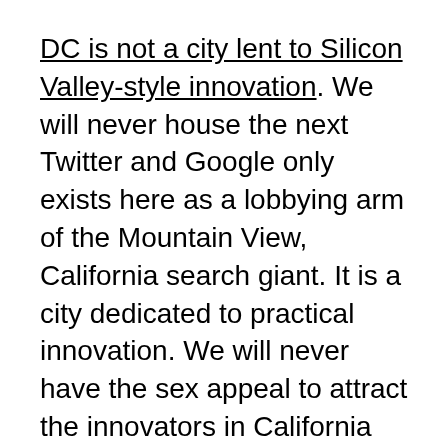DC is not a city lent to Silicon Valley-style innovation. We will never house the next Twitter and Google only exists here as a lobbying arm of the Mountain View, California search giant. It is a city dedicated to practical innovation. We will never have the sex appeal to attract the innovators in California here. It's not our style.
What we do have is an opportunity for innovation as it pertains to agency mission. We do have the opportunity to develop products that meet the needs of elected government, established government and citizens in a time of economic uncertainty. We do have the ability to build products and services that meet the needs of